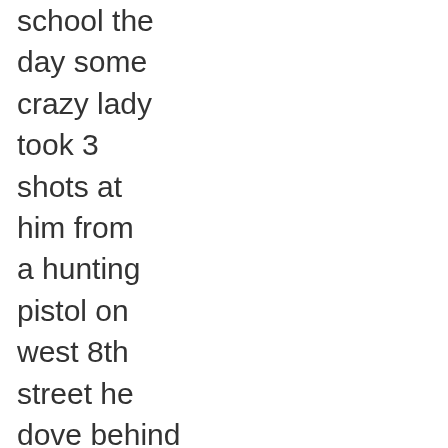school the day some crazy lady took 3 shots at him from a hunting pistol on west 8th street he dove behind a tree and was there for 25 minutes until the police rushed